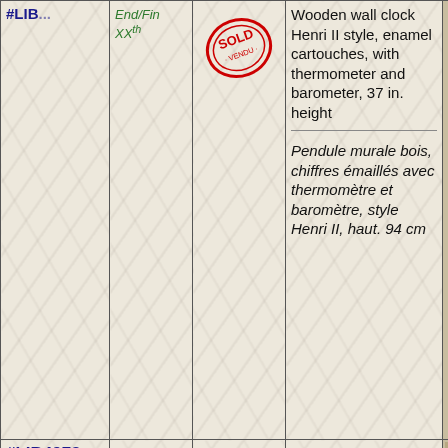| ID | Date | Status | Description | Image |
| --- | --- | --- | --- | --- |
| [partial ID] | End/Fin XXth | SOLD/VENDU | Wooden wall clock Henri II style, enamel cartouches, with thermometer and barometer, 37 in. height | Pendule murale bois, chiffres émaillés avec thermomètre et baromètre, style Henri II, haut. 94 cm | [clock image] |
| #LIB4973 | End/Fin XIXth | SOLD/VENDU | Small ox eye wooden clock, 11 in. width | [round clock image] |